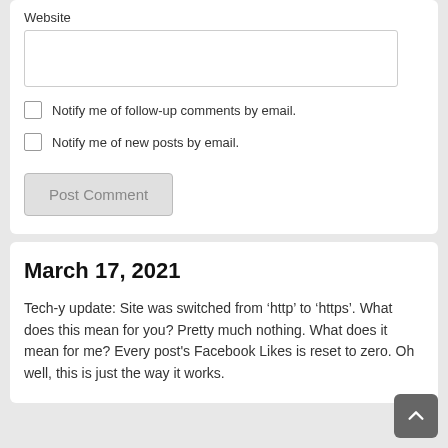Website
Notify me of follow-up comments by email.
Notify me of new posts by email.
Post Comment
March 17, 2021
Tech-y update: Site was switched from ‘http’ to ‘https’. What does this mean for you? Pretty much nothing. What does it mean for me? Every post's Facebook Likes is reset to zero. Oh well, this is just the way it works.